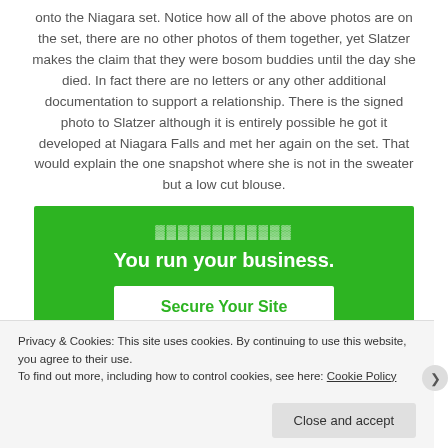onto the Niagara set. Notice how all of the above photos are on the set, there are no other photos of them together, yet Slatzer makes the claim that they were bosom buddies until the day she died. In fact there are no letters or any other additional documentation to support a relationship. There is the signed photo to Slatzer although it is entirely possible he got it developed at Niagara Falls and met her again on the set. That would explain the one snapshot where she is not in the sweater but a low cut blouse.
[Figure (screenshot): Green advertisement banner with bold white text 'You run your business.' and a white button labeled 'Secure Your Site']
Privacy & Cookies: This site uses cookies. By continuing to use this website, you agree to their use. To find out more, including how to control cookies, see here: Cookie Policy
Close and accept